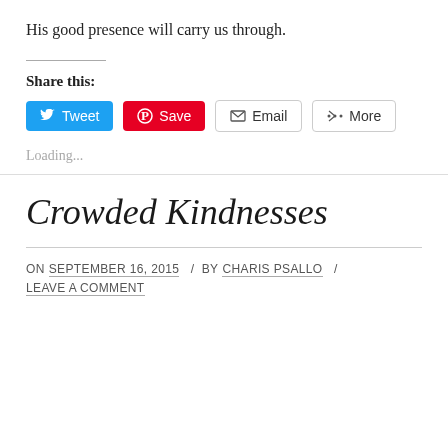His good presence will carry us through.
Share this:
[Figure (other): Social share buttons: Tweet (blue), Save (red Pinterest), Email (outlined), More (outlined)]
Loading...
Crowded Kindnesses
ON SEPTEMBER 16, 2015 / BY CHARIS PSALLO / LEAVE A COMMENT